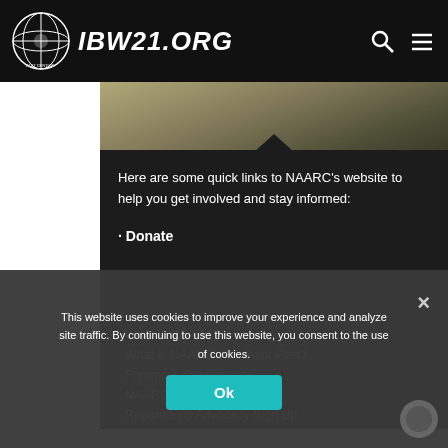IBW21.ORG
[Figure (screenshot): Hero image with dark olive/golden textured background, showing a partial figure/statue]
Here are some quick links to NAARC's website to help you get involved and stay informed:
• Donate
• What is NAARC?
• What is NAARC's 10 Point Plan?
• Forums & Conferences
• NAARC News
• Reparations Advocacy Sign Up
This website uses cookies to improve your experience and analyze site traffic. By continuing to use this website, you consent to the use of cookies.